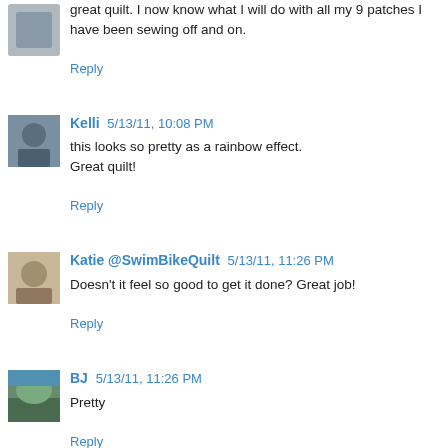great quilt. I now know what I will do with all my 9 patches I have been sewing off and on.
Reply
Kelli 5/13/11, 10:08 PM
this looks so pretty as a rainbow effect.
Great quilt!
Reply
Katie @SwimBikeQuilt 5/13/11, 11:26 PM
Doesn't it feel so good to get it done? Great job!
Reply
BJ 5/13/11, 11:26 PM
Pretty
Reply